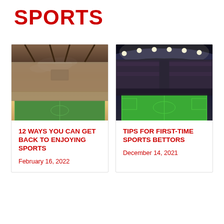SPORTS
[Figure (photo): Aerial view of a stadium at dusk/sunset with warm sky tones and green pitch]
12 WAYS YOU CAN GET BACK TO ENJOYING SPORTS
February 16, 2022
[Figure (photo): Night aerial view of a lit stadium packed with spectators and bright green pitch]
TIPS FOR FIRST-TIME SPORTS BETTORS
December 14, 2021